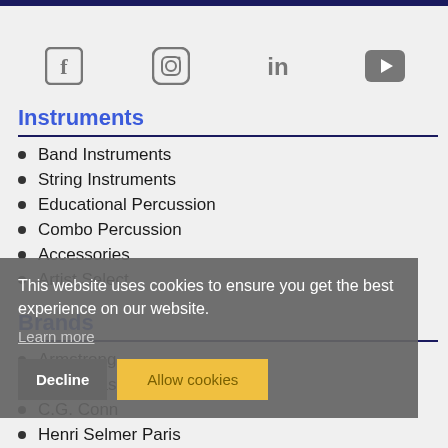[Figure (other): Social media icons row: Facebook, Instagram, LinkedIn, YouTube]
Instruments
Band Instruments
String Instruments
Educational Percussion
Combo Percussion
Accessories
Artist Select
Brands
Armstrong
Bach Brass
C.G. Conn
Henri Selmer Paris
Holton
This website uses cookies to ensure you get the best experience on our website.
Learn more
Decline   Allow cookies